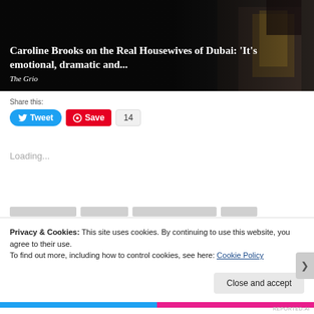[Figure (photo): Dark background image of a woman in a gold/glittery outfit, partially visible. Overlaid with article title and source.]
Caroline Brooks on the Real Housewives of Dubai: ‘It’s emotional, dramatic and...
The Grio
Share this:
Tweet
Save
14
Loading...
Privacy & Cookies: This site uses cookies. By continuing to use this website, you agree to their use.
To find out more, including how to control cookies, see here: Cookie Policy
Close and accept